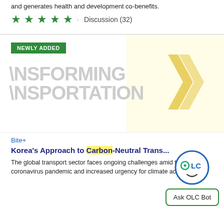and generates health and development co-benefits.
★★★★★ . Discussion (32)
[Figure (screenshot): Course card with 'NEWLY ADDED' green badge and background image showing text 'TRANSFORMING TRANSPORTATION' in large grey letters with yellow background on right side]
Bite+
Korea's Approach to Carbon-Neutral Trans...
The global transport sector faces ongoing challenges amid the coronavirus pandemic and increased urgency for climate action. But